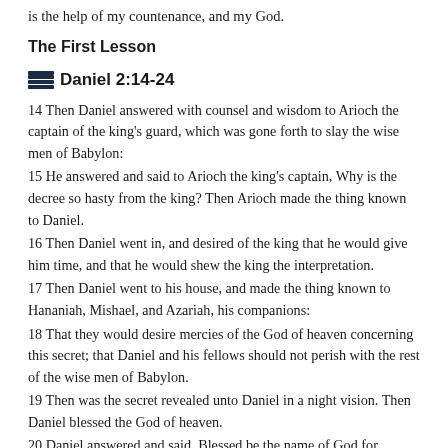is the help of my countenance, and my God.
The First Lesson
Daniel 2:14-24
14 Then Daniel answered with counsel and wisdom to Arioch the captain of the king's guard, which was gone forth to slay the wise men of Babylon:
15 He answered and said to Arioch the king's captain, Why is the decree so hasty from the king? Then Arioch made the thing known to Daniel.
16 Then Daniel went in, and desired of the king that he would give him time, and that he would shew the king the interpretation.
17 Then Daniel went to his house, and made the thing known to Hananiah, Mishael, and Azariah, his companions:
18 That they would desire mercies of the God of heaven concerning this secret; that Daniel and his fellows should not perish with the rest of the wise men of Babylon.
19 Then was the secret revealed unto Daniel in a night vision. Then Daniel blessed the God of heaven.
20 Daniel answered and said, Blessed be the name of God for